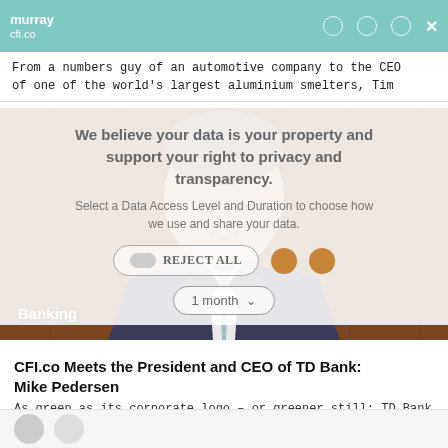murray
cfi.co
From a numbers guy of an automotive company to the CEO of one of the world's largest aluminium smelters, Tim
We believe your data is your property and support your right to privacy and transparency.
Select a Data Access Level and Duration to choose how we use and share your data.
REJECT ALL
1 month
[Figure (photo): Photo of Mike Pedersen, President and CEO of TD Bank, wearing a suit and tie, against a brown wood-paneled background. A 'Banking' label appears in the lower-left corner.]
CFI.co Meets the President and CEO of TD Bank: Mike Pedersen
As green as its corporate logo – or greener still: TD Bank Group, one of the six largest banks in